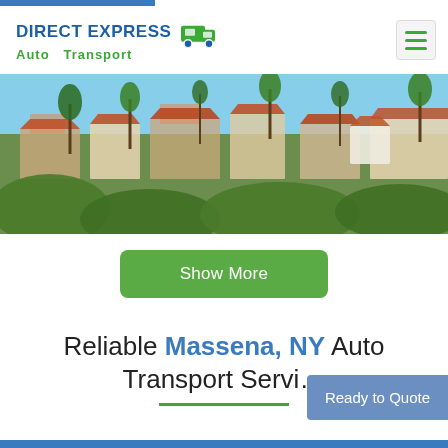[Figure (logo): Direct Express Auto Transport logo with green truck icon, blue DIRECT EXPRESS text and green Auto Transport text]
[Figure (photo): Aerial view of a sunny California-style neighborhood with red-tile roofed buildings, palm trees and lush greenery]
Show More
Reliable Massena, NY Auto Transport Servi...
Ready to Quote